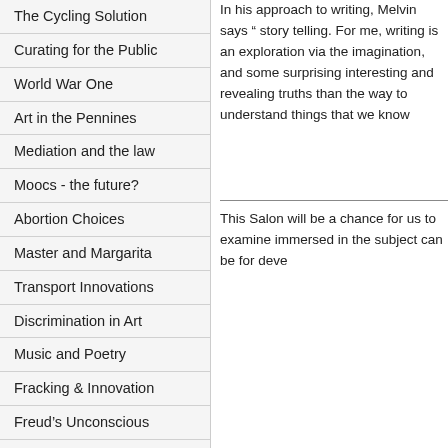The Cycling Solution
Curating for the Public
World War One
Art in the Pennines
Mediation and the law
Moocs - the future?
Abortion Choices
Master and Margarita
Transport Innovations
Discrimination in Art
Music and Poetry
Fracking & Innovation
Freud's Unconscious
Sex, Lies & Advertising
Assisted Dying
Developing Modernity
Genocide and Politics
Inequality in Society
In his approach to writing, Melvin says “ story telling. For me, writing is an exploration via the imagination, and some surprising interesting and revealing truths than the way to understand things that we know
This Salon will be a chance for us to examine immersed in the subject can be for deve